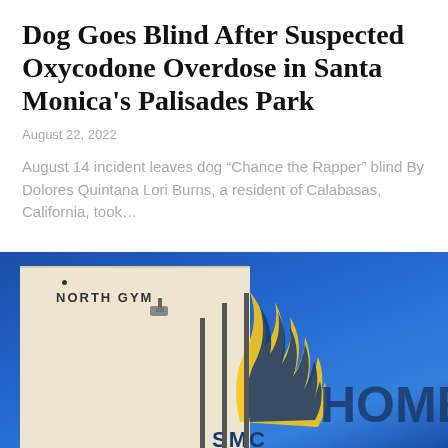Dog Goes Blind After Suspected Oxycodone Overdose in Santa Monica's Palisades Park
August 22, 2022
August 14 incident leaves dog “Chance the Rapper” blind By Dolores Quintana Lori Burns, a resident of Calabasas, California, took…
[Figure (photo): Exterior photo of a building with 'NORTH GYM' text on the facade, taken from a low angle against a deep blue sky. A Santa Monica College logo (featuring a stylized figure and 'SMC' letters) and partial 'HOME' text are visible on the building wall. A security camera and vertical poles are visible.]